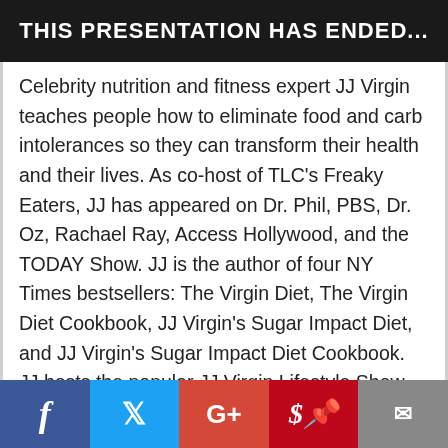THIS PRESENTATION HAS ENDED...
Celebrity nutrition and fitness expert JJ Virgin teaches people how to eliminate food and carb intolerances so they can transform their health and their lives. As co-host of TLC's Freaky Eaters, JJ has appeared on Dr. Phil, PBS, Dr. Oz, Rachael Ray, Access Hollywood, and the TODAY Show. JJ is the author of four NY Times bestsellers: The Virgin Diet, The Virgin Diet Cookbook, JJ Virgin's Sugar Impact Diet, and JJ Virgin's Sugar Impact Diet Cookbook. JJ hosts the popular JJ Virgin Lifestyle Show podcast and regularly writes for Huffington Post, Rodale Wellness, and MindBodyGreen. JJ is also a business coach and founded the premier health entrepreneur event and community, The Mindshare Summit. Find
Social share bar: Facebook, Twitter, Google+, Pinterest, Email